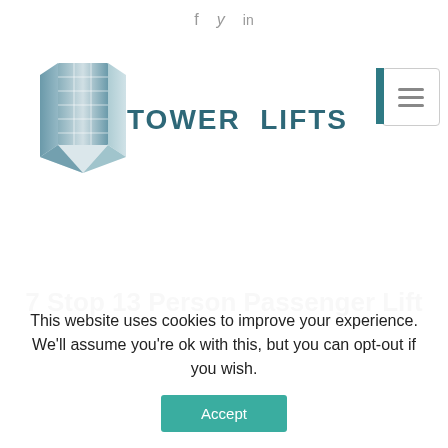f  y  in
[Figure (logo): Tower Lifts logo with stylized building graphic and text TOWER LIFTS]
7 Stop 13 Person Passenger Lift
This website uses cookies to improve your experience. We'll assume you're ok with this, but you can opt-out if you wish.
Accept